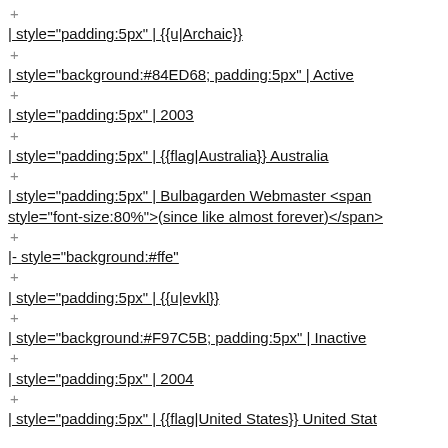+
| style="padding:5px" | {{u|Archaic}}
+
| style="background:#84ED68; padding:5px" | Active
+
| style="padding:5px" | 2003
+
| style="padding:5px" | {{flag|Australia}} Australia
+
| style="padding:5px" | Bulbagarden Webmaster <span style="font-size:80%">(since like almost forever)</span>
+
|- style="background:#ffe"
+
| style="padding:5px" | {{u|evkl}}
+
| style="background:#F97C5B; padding:5px" | Inactive
+
| style="padding:5px" | 2004
+
| style="padding:5px" | {{flag|United States}} United Sta...